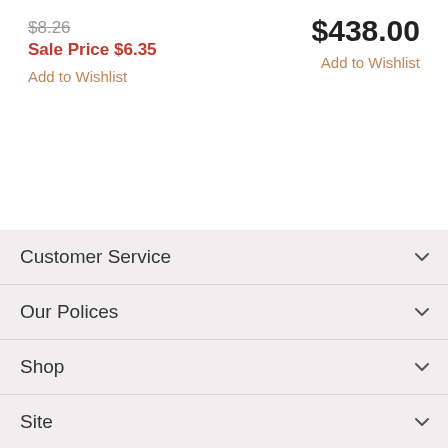$8.26 (strikethrough)
Sale Price $6.35
Add to Wishlist
$438.00
Add to Wishlist
Customer Service
Our Polices
Shop
Site